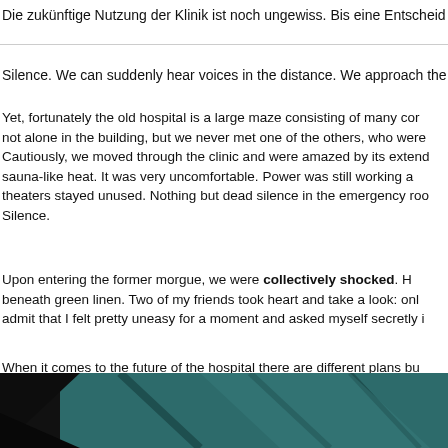Die zukünftige Nutzung der Klinik ist noch ungewiss. Bis eine Entscheid…
Silence. We can suddenly hear voices in the distance. We approach the h…
Yet, fortunately the old hospital is a large maze consisting of many cor… not alone in the building, but we never met one of the others, who were… Cautiously, we moved through the clinic and were amazed by its extend… sauna-like heat. It was very uncomfortable. Power was still working a… theaters stayed unused. Nothing but dead silence in the emergency roo… Silence.
Upon entering the former morgue, we were collectively shocked. H… beneath green linen. Two of my friends took heart and take a look: onl… admit that I felt pretty uneasy for a moment and asked myself secretly i…
When it comes to the future of the hospital there are different plans bu… hauntingly silence.
[Figure (photo): Dark photograph showing a teal/green surface with angular shadows, likely inside the abandoned hospital morgue or corridor.]